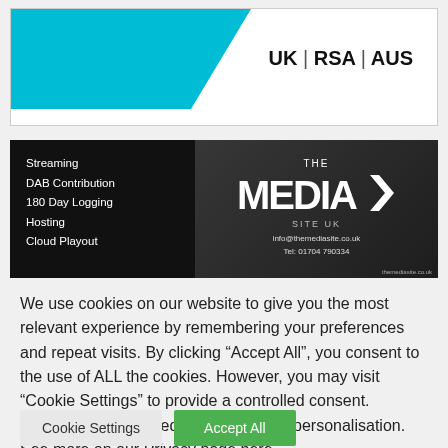[Figure (logo): Company logo banner with cyan triangle shape and text 'UK | RSA | AUS']
[Figure (illustration): The Media Site UK advertisement banner. Left side black with services: Streaming, DAB Contribution, 180 Day Logging, Hosting, Cloud Playout. Right side dark with 'THE MEDIA W SITE UK' logo, info@themediasite.co.uk, Tel: 01704 790334, themediasite.co.uk]
We use cookies on our website to give you the most relevant experience by remembering your preferences and repeat visits. By clicking "Accept All", you consent to the use of ALL the cookies. However, you may visit "Cookie Settings" to provide a controlled consent. Cookies are also used for Google Ads personalisation. See more on our Privacy page here.
Cookie Settings
Accept All